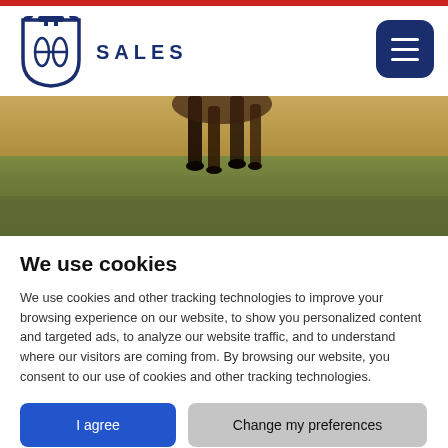[Figure (logo): Shield/crest logo icon in dark navy blue with stylized H design]
SALES
[Figure (photo): Hero photo showing animal legs and grassy field, partially cropped]
We use cookies
We use cookies and other tracking technologies to improve your browsing experience on our website, to show you personalized content and targeted ads, to analyze our website traffic, and to understand where our visitors are coming from. By browsing our website, you consent to our use of cookies and other tracking technologies.
I agree
Change my preferences